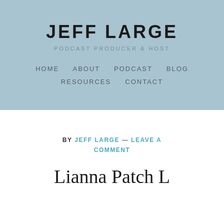JEFF LARGE
PODCAST PRODUCER & HOST
HOME   ABOUT   PODCAST   BLOG   RESOURCES   CONTACT
BY JEFF LARGE — LEAVE A COMMENT
Lianna Patch L